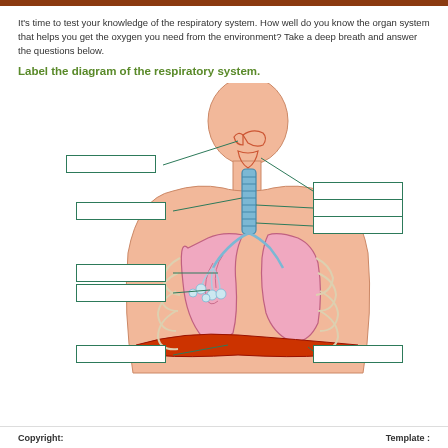It's time to test your knowledge of the respiratory system. How well do you know the organ system that helps you get the oxygen you need from the environment? Take a deep breath and answer the questions below.
Label the diagram of the respiratory system.
[Figure (illustration): Labeled diagram of the human respiratory system showing a cross-section silhouette of a person with blank label boxes pointing to: nasal cavity, pharynx, larynx, trachea, bronchi, bronchioles, lung, diaphragm, and ribs/muscles. Lines connect each blank box to the corresponding anatomical structure.]
Copyright:                    Template :